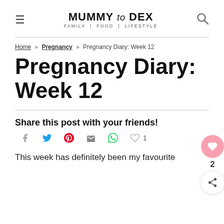MUMMY to DEX — FAMILY | FOOD | LIFESTYLE
Home » Pregnancy » Pregnancy Diary: Week 12
Pregnancy Diary: Week 12
Share this post with your friends!
This week has definitely been my favourite